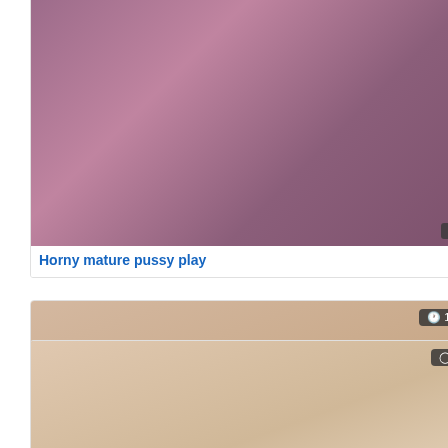[Figure (photo): Thumbnail image of adult video with PornerBros watermark]
Horny mature pussy play
[Figure (photo): Thumbnail image of adult video showing two people, duration 11:11, 8 views, PornerBros watermark]
Cute Step mom Cherie Deville
[Figure (photo): Dark thumbnail image of adult video, duration 07:05, 13 views]